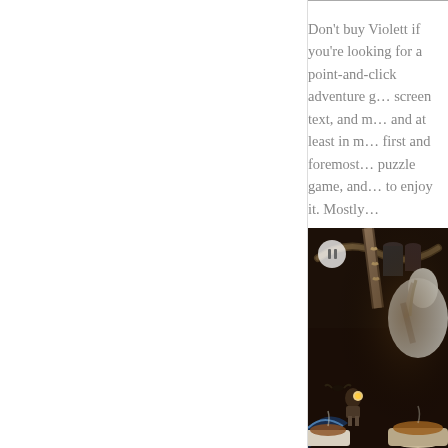Don't buy Violett if you're looking for a point-and-click adventure game with good voice acting, full-screen text, and no puzzles. Or rather, buy it, and at least in my experience you'll almost certainly first and foremost fall in love with it as a point-and-click puzzle game, and then you'll be in the right mindset to enjoy it. Mostly.
[Figure (screenshot): In-game screenshot showing a dark fantasy/steampunk environment with mechanical tubes, a mysterious white horse or creature, and warm-toned cups or bowls in the foreground. A pause button overlay is visible in the upper left corner of the image.]